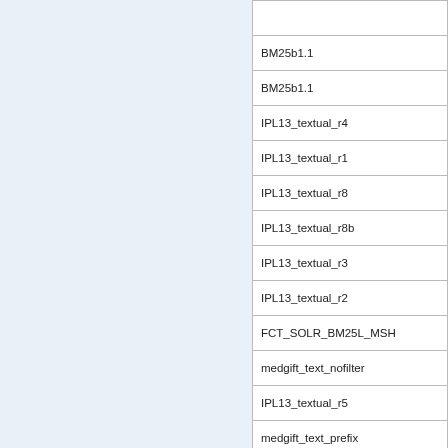| BM25b1.1 |
| BM25b1.1 |
| IPL13_textual_r4 |
| IPL13_textual_r1 |
| IPL13_textual_r8 |
| IPL13_textual_r8b |
| IPL13_textual_r3 |
| IPL13_textual_r2 |
| FCT_SOLR_BM25L_MSH |
| medgift_text_nofilter |
| IPL13_textual_r5 |
| medgift_text_prefix |
| FCT_SOLR_BM25L |
| DEMIR9 |
| DEMIR1 |